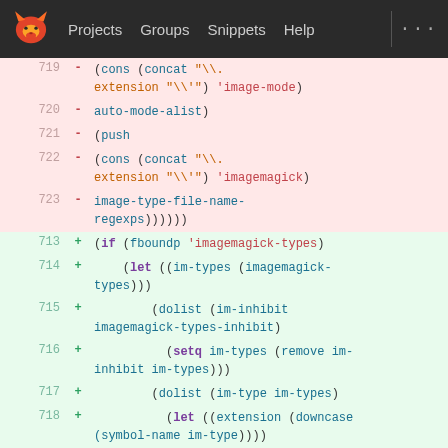[Figure (screenshot): GitLab code diff view showing lines 719-723 deleted (red) and lines 713-720 added (green) of an Emacs Lisp file dealing with imagemagick types and image mode configuration.]